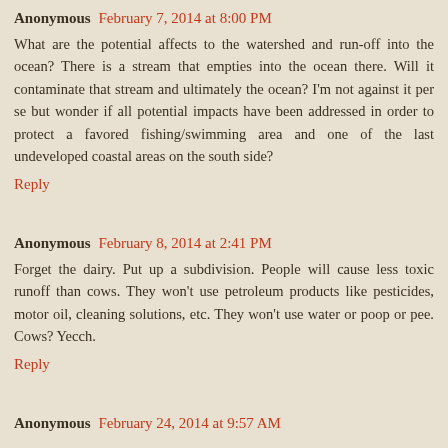Anonymous February 7, 2014 at 8:00 PM
What are the potential affects to the watershed and run-off into the ocean? There is a stream that empties into the ocean there. Will it contaminate that stream and ultimately the ocean? I'm not against it per se but wonder if all potential impacts have been addressed in order to protect a favored fishing/swimming area and one of the last undeveloped coastal areas on the south side?
Reply
Anonymous February 8, 2014 at 2:41 PM
Forget the dairy. Put up a subdivision. People will cause less toxic runoff than cows. They won't use petroleum products like pesticides, motor oil, cleaning solutions, etc. They won't use water or poop or pee. Cows? Yecch.
Reply
Anonymous February 24, 2014 at 9:57 AM